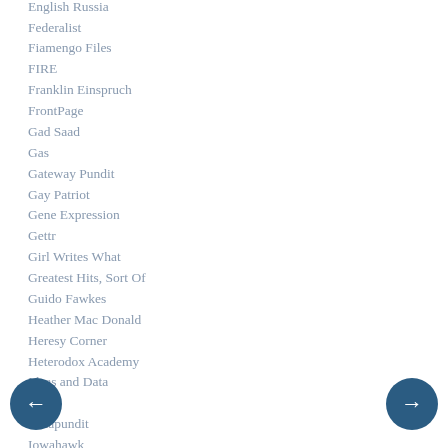English Russia
Federalist
Fiamengo Files
FIRE
Franklin Einspruch
FrontPage
Gad Saad
Gas
Gateway Pundit
Gay Patriot
Gene Expression
Gettr
Girl Writes What
Greatest Hits, Sort Of
Guido Fawkes
Heather Mac Donald
Heresy Corner
Heterodox Academy
Ideas and Data
IEA
Instapundit
Iowahawk
Jawa Report
Jihad Watch